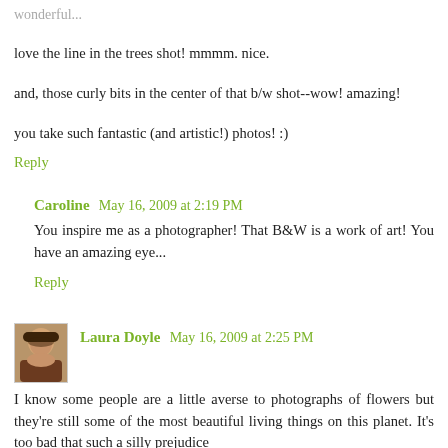wonderful...
love the line in the trees shot! mmmm. nice.
and, those curly bits in the center of that b/w shot--wow! amazing!
you take such fantastic (and artistic!) photos! :)
Reply
Caroline  May 16, 2009 at 2:19 PM
You inspire me as a photographer! That B&W is a work of art! You have an amazing eye...
Reply
[Figure (photo): Small avatar photo of Laura Doyle, a woman with dark hair]
Laura Doyle  May 16, 2009 at 2:25 PM
I know some people are a little averse to photographs of flowers but they're still some of the most beautiful living things on this planet. It's too bad that such a silly prejudice